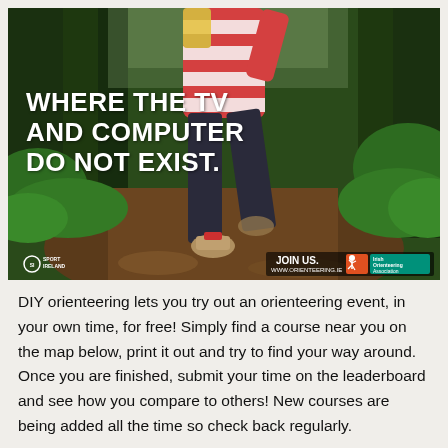[Figure (photo): A child running through a forest on a dirt trail, wearing a striped red/white/yellow top and dark jeans. Overlaid white bold text reads 'WHERE THE TV AND COMPUTER DO NOT EXIST.' Bottom right shows 'JOIN US. WWW.ORIENTEERING.IE' with the Irish Orienteering Association logo. Bottom left shows the Sport Ireland logo.]
DIY orienteering lets you try out an orienteering event, in your own time, for free! Simply find a course near you on the map below, print it out and try to find your way around. Once you are finished, submit your time on the leaderboard and see how you compare to others! New courses are being added all the time so check back regularly.